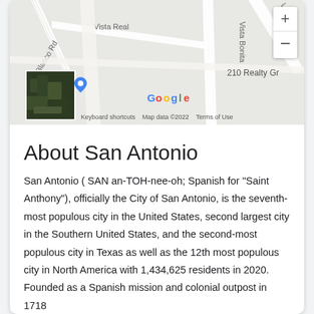[Figure (map): Google Maps street map showing an area with roads labeled Blanco Rd, Vista Real, Vista Bonita, La Vis[ta], and 210 Realty Gr[oup]. Includes zoom controls (+/-), a satellite thumbnail in the bottom-left corner, a blue location marker, and the Google logo. Footer shows 'Keyboard shortcuts', 'Map data ©2022', 'Terms of Use'.]
About San Antonio
San Antonio ( SAN an-TOH-nee-oh; Spanish for "Saint Anthony"), officially the City of San Antonio, is the seventh-most populous city in the United States, second largest city in the Southern United States, and the second-most populous city in Texas as well as the 12th most populous city in North America with 1,434,625 residents in 2020. Founded as a Spanish mission and colonial outpost in 1718